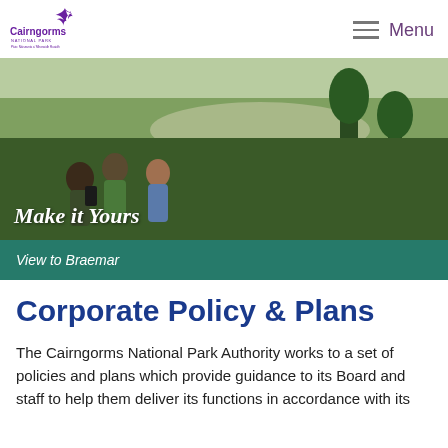Cairngorms National Park — Menu
[Figure (photo): Scenic landscape view of Braemar from a hillside with pine trees. Three hikers in the foreground looking out over the valley and town. Text overlay reads 'Make it Yours'.]
View to Braemar
Corporate Policy & Plans
The Cairngorms National Park Authority works to a set of policies and plans which provide guidance to its Board and staff to help them deliver its functions in accordance with its